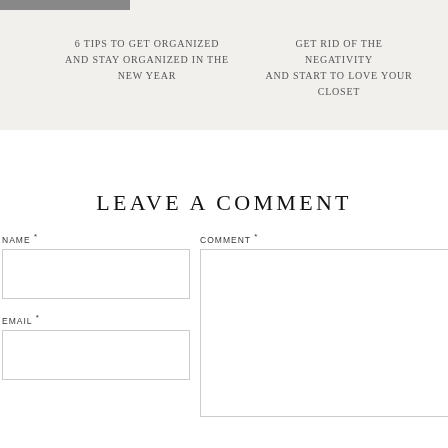[Figure (photo): Partial image visible at top left corner, appears to be a room interior with wooden elements]
6 TIPS TO GET ORGANIZED AND STAY ORGANIZED IN THE NEW YEAR
GET RID OF THE NEGATIVITY AND START TO LOVE YOUR CLOSET
LEAVE A COMMENT
NAME *
EMAIL *
COMMENT *